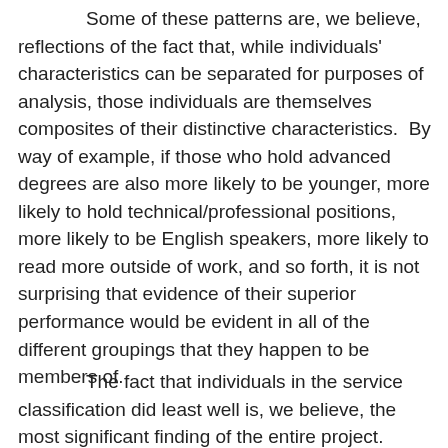Some of these patterns are, we believe, reflections of the fact that, while individuals' characteristics can be separated for purposes of analysis, those individuals are themselves composites of their distinctive characteristics.  By way of example, if those who hold advanced degrees are also more likely to be younger, more likely to hold technical/professional positions, more likely to be English speakers, more likely to read more outside of work, and so forth, it is not surprising that evidence of their superior performance would be evident in all of the different groupings that they happen to be members of.
The fact that individuals in the service classification did least well is, we believe, the most significant finding of the entire project.  While